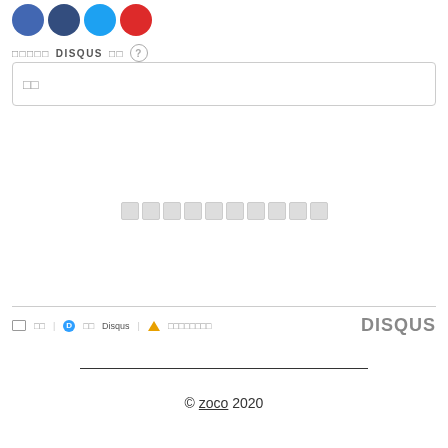[Figure (illustration): Four social media icon circles: blue (Facebook), dark navy (another social), light blue (Twitter), red (YouTube/Google)]
□□□□□ DISQUS □□ ?
□□
□□□□□□□□□□
✉ □□  D □□ Disqus ▲ □□□□□□□□   DISQUS
© zoco 2020